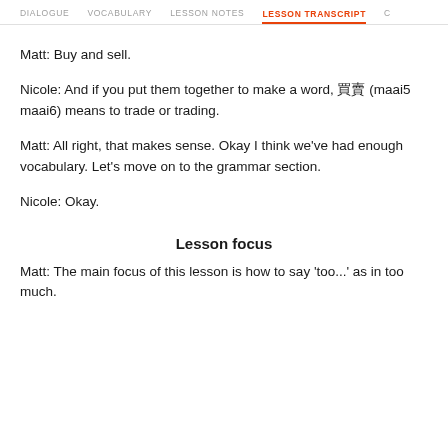DIALOGUE  VOCABULARY  LESSON NOTES  LESSON TRANSCRIPT  C
Matt: Buy and sell.
Nicole: And if you put them together to make a word, 買賣 (maai5 maai6) means to trade or trading.
Matt: All right, that makes sense. Okay I think we've had enough vocabulary. Let's move on to the grammar section.
Nicole: Okay.
Lesson focus
Matt: The main focus of this lesson is how to say 'too...' as in too much.